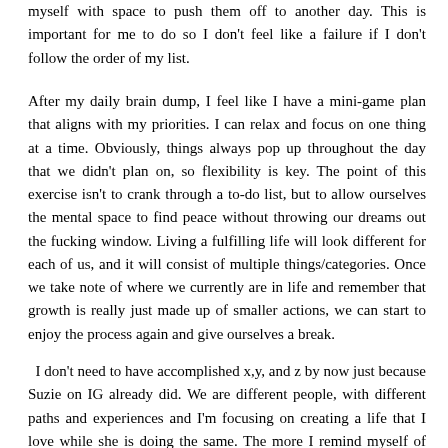myself with space to push them off to another day. This is important for me to do so I don't feel like a failure if I don't follow the order of my list.
After my daily brain dump, I feel like I have a mini-game plan that aligns with my priorities. I can relax and focus on one thing at a time. Obviously, things always pop up throughout the day that we didn't plan on, so flexibility is key. The point of this exercise isn't to crank through a to-do list, but to allow ourselves the mental space to find peace without throwing our dreams out the fucking window. Living a fulfilling life will look different for each of us, and it will consist of multiple things/categories. Once we take note of where we currently are in life and remember that growth is really just made up of smaller actions, we can start to enjoy the process again and give ourselves a break.
I don't need to have accomplished x,y, and z by now just because Suzie on IG already did. We are different people, with different paths and experiences and I'm focusing on creating a life that I love while she is doing the same. The more I remind myself of that, the easier it